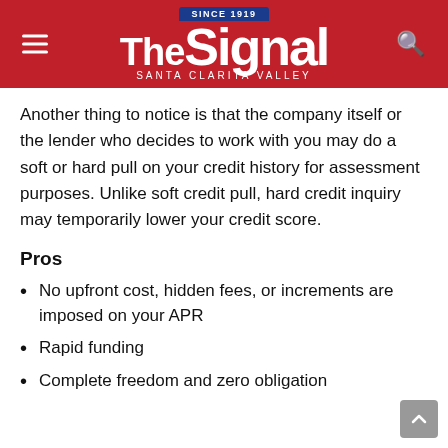The Signal — Santa Clarita Valley
Another thing to notice is that the company itself or the lender who decides to work with you may do a soft or hard pull on your credit history for assessment purposes. Unlike soft credit pull, hard credit inquiry may temporarily lower your credit score.
Pros
No upfront cost, hidden fees, or increments are imposed on your APR
Rapid funding
Complete freedom and zero obligation